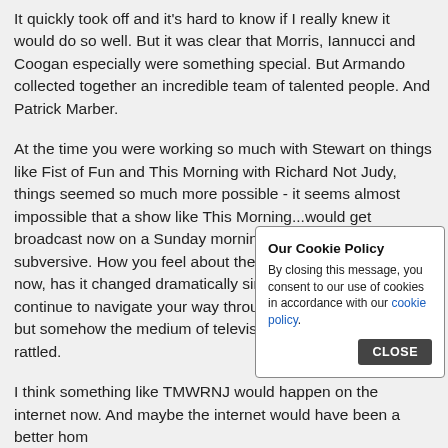It quickly took off and it's hard to know if I really knew it would do so well. But it was clear that Morris, Iannucci and Coogan especially were something special. But Armando collected together an incredible team of talented people. And Patrick Marber.
At the time you were working so much with Stewart on things like Fist of Fun and This Morning with Richard Not Judy, things seemed so much more possible - it seems almost impossible that a show like This Morning...would get broadcast now on a Sunday morning, it was perfect, and subversive. How you feel about the landscape for comedy now, has it changed dramatically since those times?You continue to navigate your way through as brilliantly as ever, but somehow the medium of television seems to have been rattled.
I think something like TMWRNJ would happen on the internet now. And maybe the internet would have been a better home for it... that did ma... boundaries... and autono... that Stew...
Our Cookie Policy
By closing this message, you consent to our use of cookies in accordance with our cookie policy.